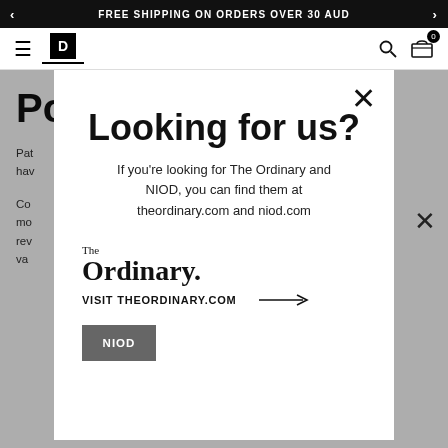FREE SHIPPING ON ORDERS OVER 30 AUD
[Figure (screenshot): Navigation bar with hamburger menu, D logo, search icon, and cart icon with badge 0]
Po
Pat will hav It is
Co mo rev va e
[Figure (screenshot): Modal popup: Looking for us? If you're looking for The Ordinary and NIOD, you can find them at theordinary.com and niod.com. Shows The Ordinary logo and VISIT THEORDINARY.COM link with arrow, and partial NIOD logo at bottom.]